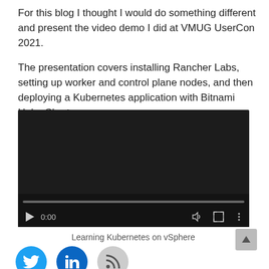For this blog I thought I would do something different and present the video demo I did at VMUG UserCon 2021.
The presentation covers installing Rancher Labs, setting up worker and control plane nodes, and then deploying a Kubernetes application with Bitnami Helm Charts.
[Figure (screenshot): Embedded video player showing a dark/black video with playback controls at bottom including play button, 0:00 timestamp, volume, fullscreen, and more options icons, plus a progress bar.]
Learning Kubernetes on vSphere
[Figure (other): Social media icons: Twitter (blue bird), LinkedIn (blue), and RSS feed (gray)]